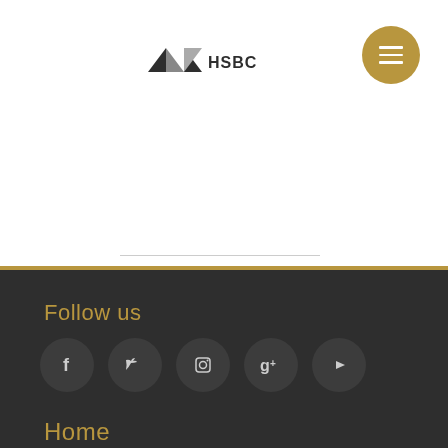[Figure (logo): HSBC logo with triangular mountain-like mark and HSBC text]
[Figure (other): Gold circular hamburger menu button with three white horizontal bars]
Follow us
[Figure (other): Row of five dark circular social media icons: Facebook, Twitter, Instagram, Google+, YouTube]
Home